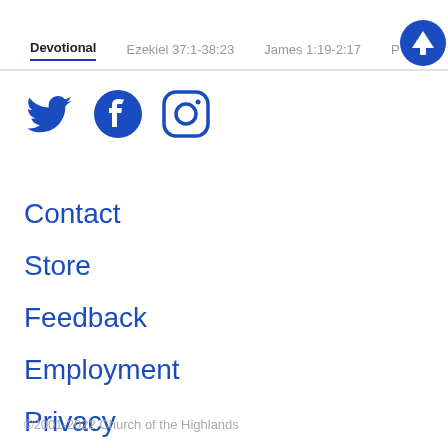Devotional  Ezekiel 37:1-38:23  James 1:19-2:17  P
[Figure (illustration): Social media icons: Twitter bird icon, Facebook circle icon, Instagram square icon, all in dark blue]
Contact
Store
Feedback
Employment
Privacy
©2001-2022 Church of the Highlands